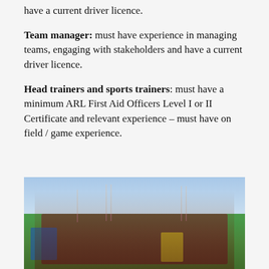have a current driver licence.
Team manager: must have experience in managing teams, engaging with stakeholders and have a current driver licence.
Head trainers and sports trainers: must have a minimum ARL First Aid Officers Level I or II Certificate and relevant experience – must have on field / game experience.
[Figure (photo): Group photo of a junior rugby league team in maroon jerseys posing together on a football field with spectators and light poles visible in the background. Adults in blue, black and yellow shirts stand with the players.]